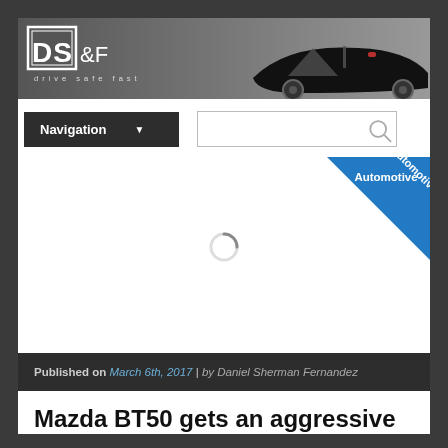[Figure (logo): DS&F drive safe fast banner with black sports car on grey background]
Navigation ▼
[Figure (screenshot): Search box with magnifying glass icon]
[Figure (infographic): Automotive category badge - blue diagonal ribbon in top right corner]
[Figure (screenshot): Loading spinner (circular loading indicator)]
Published on March 6th, 2017 | by Daniel Sherman Fernandez
Mazda BT50 gets an aggressive